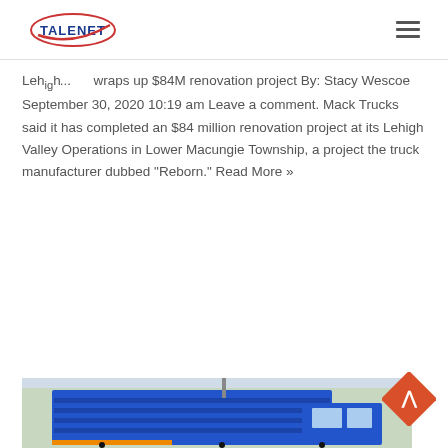TALENET (logo) with hamburger menu
Lehigh... wraps up $84M renovation project By: Stacy Wescoe September 30, 2020 10:19 am Leave a comment. Mack Trucks said it has completed an $84 million renovation project at its Lehigh Valley Operations in Lower Macungie Township, a project the truck manufacturer dubbed "Reborn." Read More »
Learn More
[Figure (photo): Blue dump truck photographed outdoors with trees in background]